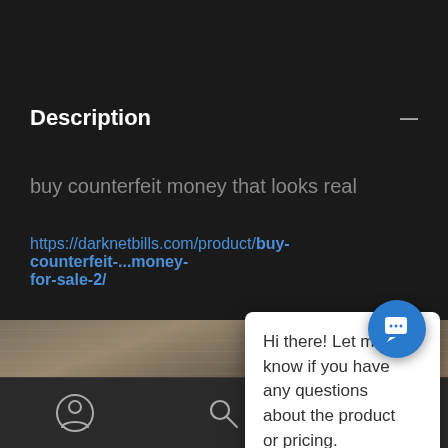Description
buy counterfeit money that looks real
https://darknetbills.com/product/buy-counterfeit-...money-for-sale-2/
[Figure (photo): Stacks of bundled banknotes/currency bills piled in rows]
Hi there! Let me know if you have any questions about the product or pricing.